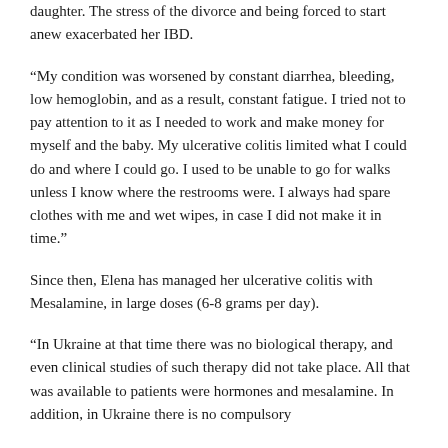daughter. The stress of the divorce and being forced to start anew exacerbated her IBD.
“My condition was worsened by constant diarrhea, bleeding, low hemoglobin, and as a result, constant fatigue. I tried not to pay attention to it as I needed to work and make money for myself and the baby. My ulcerative colitis limited what I could do and where I could go. I used to be unable to go for walks unless I know where the restrooms were. I always had spare clothes with me and wet wipes, in case I did not make it in time.”
Since then, Elena has managed her ulcerative colitis with Mesalamine, in large doses (6-8 grams per day).
“In Ukraine at that time there was no biological therapy, and even clinical studies of such therapy did not take place. All that was available to patients were hormones and mesalamine. In addition, in Ukraine there is no compulsory